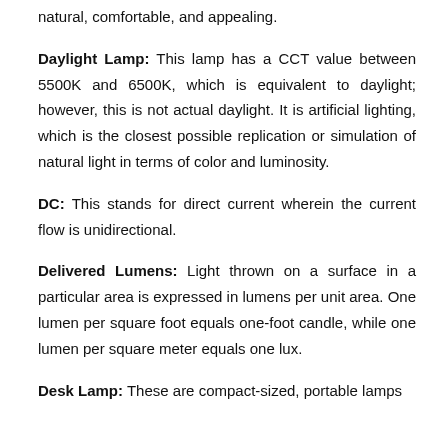natural, comfortable, and appealing.
Daylight Lamp: This lamp has a CCT value between 5500K and 6500K, which is equivalent to daylight; however, this is not actual daylight. It is artificial lighting, which is the closest possible replication or simulation of natural light in terms of color and luminosity.
DC: This stands for direct current wherein the current flow is unidirectional.
Delivered Lumens: Light thrown on a surface in a particular area is expressed in lumens per unit area. One lumen per square foot equals one-foot candle, while one lumen per square meter equals one lux.
Desk Lamp: These are compact-sized, portable lamps...